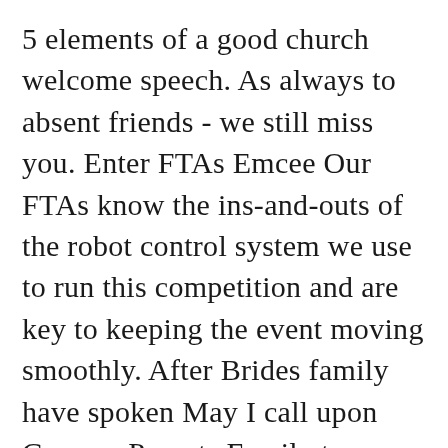5 elements of a good church welcome speech. As always to absent friends - we still miss you. Enter FTAs Emcee Our FTAs know the ins-and-outs of the robot control system we use to run this competition and are key to keeping the event moving smoothly. After Brides family have spoken May I call upon Grooms Parents Family to come up to the mic and share some words of wisdom to the bride and groom After the speeches are complete Ladies and